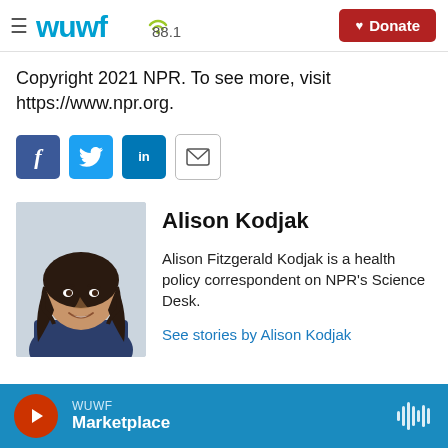WUWF 88.1 | Donate
Copyright 2021 NPR. To see more, visit https://www.npr.org.
[Figure (other): Social sharing buttons row: Facebook (f), Twitter (bird icon), LinkedIn (in), Email (envelope icon)]
[Figure (photo): Headshot photo of Alison Kodjak, a woman with long dark hair, smiling, wearing a dark top]
Alison Kodjak
Alison Fitzgerald Kodjak is a health policy correspondent on NPR's Science Desk.
See stories by Alison Kodjak
WUWF Marketplace